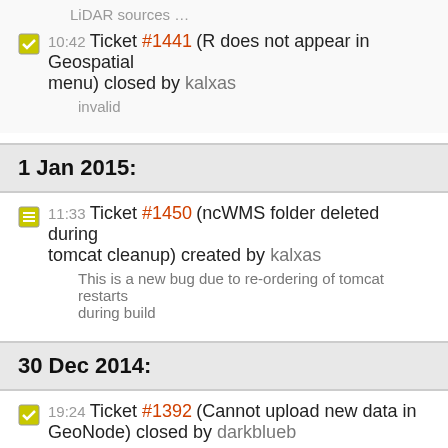LiDAR sources …
10:42 Ticket #1441 (R does not appear in Geospatial menu) closed by kalxas — invalid
1 Jan 2015:
11:33 Ticket #1450 (ncWMS folder deleted during tomcat cleanup) created by kalxas — This is a new bug due to re-ordering of tomcat restarts during build
30 Dec 2014:
19:24 Ticket #1392 (Cannot upload new data in GeoNode) closed by darkblueb — wontfix
14:57 Ticket #1225 (GeoNetwork quickstart requires updated screenshots) closed by simonp